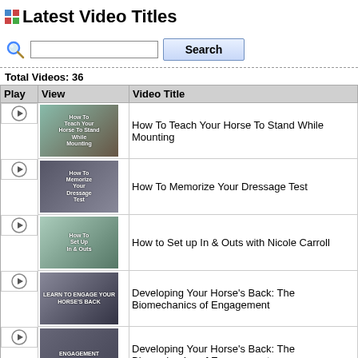Latest Video Titles
Total Videos: 36
| Play | View | Video Title |
| --- | --- | --- |
| ▶ | [thumbnail] | How To Teach Your Horse To Stand While Mounting |
| ▶ | [thumbnail] | How To Memorize Your Dressage Test |
| ▶ | [thumbnail] | How to Set up In & Outs with Nicole Carroll |
| ▶ | [thumbnail] | Developing Your Horse's Back: The Biomechanics of Engagement |
| ▶ | [thumbnail] | Developing Your Horse's Back: The Biomechanics of Engagement |
| ▶ | [thumbnail] | How To Re-educate a resistant horse to pick up feet PART 2 |